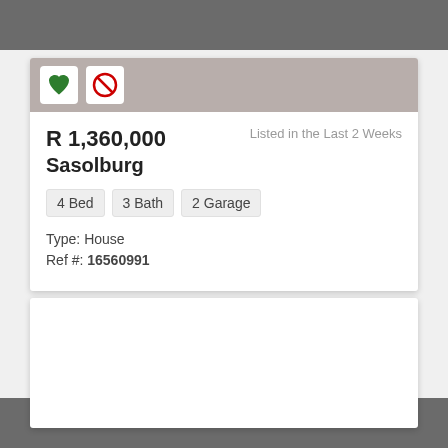R 1,360,000
Sasolburg
Listed in the Last 2 Weeks
4 Bed   3 Bath   2 Garage
Type: House
Ref #: 16560991